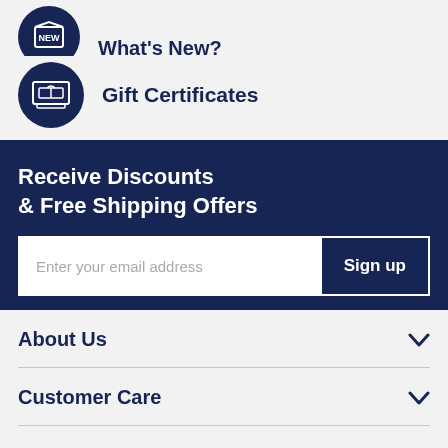What's New?
Gift Certificates
Receive Discounts & Free Shipping Offers
Enter your email address  Sign up
About Us
Customer Care